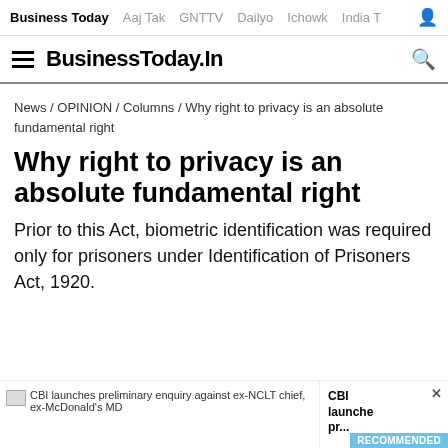Business Today  Aaj Tak  GNTTV  Dailyo  Ichowk  India T
BusinessToday.In
News / OPINION / Columns / Why right to privacy is an absolute fundamental right
Why right to privacy is an absolute fundamental right
Prior to this Act, biometric identification was required only for prisoners under Identification of Prisoners Act, 1920.
CBI launches preliminary enquiry against ex-NCLT chief, ex-McDonald's MD  CBI launche pr...  RECOMMENDED